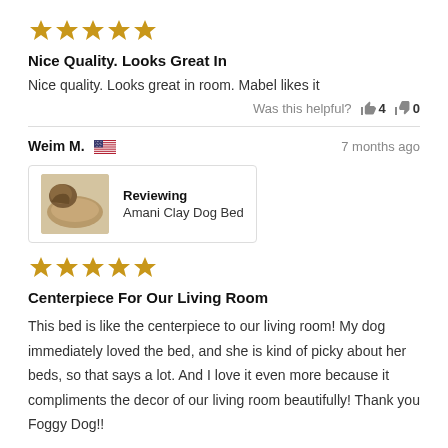[Figure (other): Five golden stars rating]
Nice Quality. Looks Great In
Nice quality. Looks great in room. Mabel likes it
Was this helpful? 👍 4  👎 0
Weim M. 🇺🇸   7 months ago
[Figure (photo): Product image of Amani Clay Dog Bed]
Reviewing
Amani Clay Dog Bed
[Figure (other): Five golden stars rating]
Centerpiece For Our Living Room
This bed is like the centerpiece to our living room! My dog immediately loved the bed, and she is kind of picky about her beds, so that says a lot. And I love it even more because it compliments the decor of our living room beautifully! Thank you Foggy Dog!!